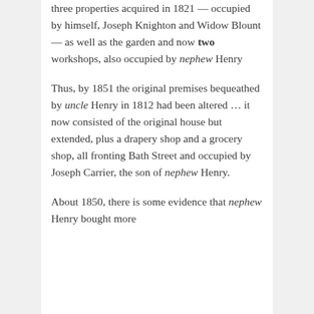three properties acquired in 1821 — occupied by himself, Joseph Knighton and Widow Blount — as well as the garden and now two workshops, also occupied by nephew Henry
Thus, by 1851 the original premises bequeathed by uncle Henry in 1812 had been altered … it now consisted of the original house but extended, plus a drapery shop and a grocery shop, all fronting Bath Street and occupied by Joseph Carrier, the son of nephew Henry.
About 1850, there is some evidence that nephew Henry bought more